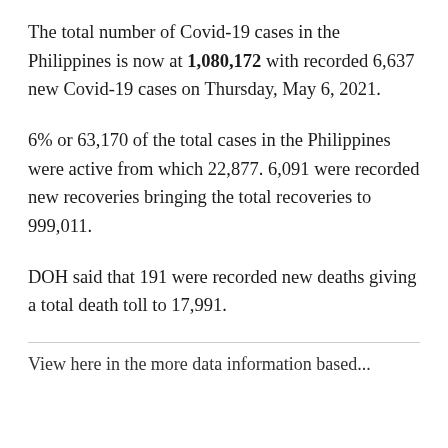The total number of Covid-19 cases in the Philippines is now at 1,080,172 with recorded 6,637 new Covid-19 cases on Thursday, May 6, 2021.
6% or 63,170 of the total cases in the Philippines were active from which 22,877. 6,091 were recorded new recoveries bringing the total recoveries to 999,011.
DOH said that 191 were recorded new deaths giving a total death toll to 17,991.
View here in the more data information based...